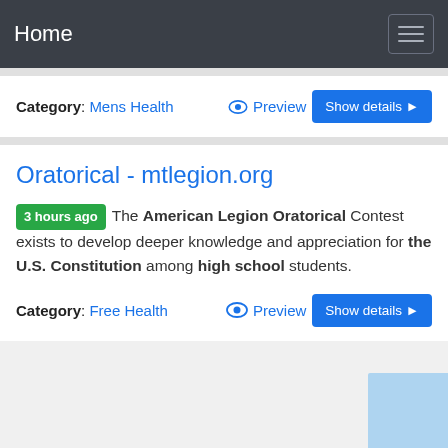Home
Category: Mens Health
Oratorical - mtlegion.org
3 hours ago The American Legion Oratorical Contest exists to develop deeper knowledge and appreciation for the U.S. Constitution among high school students.
Category: Free Health